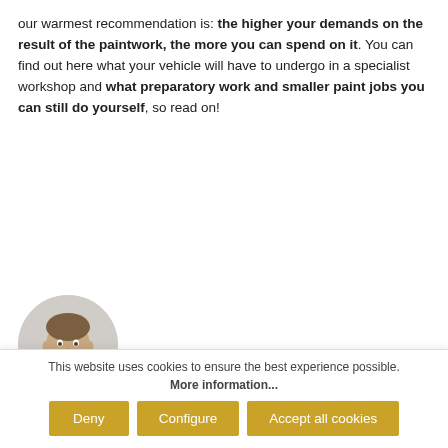our warmest recommendation is: the higher your demands on the result of the paintwork, the more you can spend on it. You can find out here what your vehicle will have to undergo in a specialist workshop and what preparatory work and smaller paint jobs you can still do yourself, so read on!
[Figure (photo): Circular portrait photo of a man (Jean Göbbels), wearing a blue jacket, smiling]
Author: Jean Göbbels
Position: Sales
Updated: 31.05.2021
This website uses cookies to ensure the best experience possible.
More information...
Deny | Configure | Accept all cookies